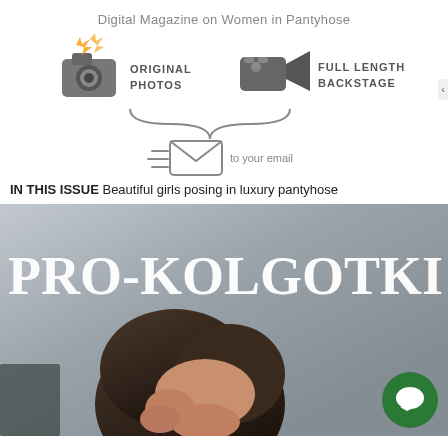Digital Magazine on Women in Pantyhose
[Figure (infographic): Infographic showing camera icon with flash labeled ORIGINAL PHOTOS and a video camera icon labeled FULL LENGTH BACKSTAGE, with a curly brace pointing down to a flying email envelope icon with text 'to your email']
IN THIS ISSUE Beautiful girls posing in luxury pantyhose
[Figure (photo): Magazine cover image with large white bold text PRO-KOLGOTKI overlaid on a photo of a woman with dark hair looking down, grey background. A green chat bubble icon appears in the bottom right corner.]